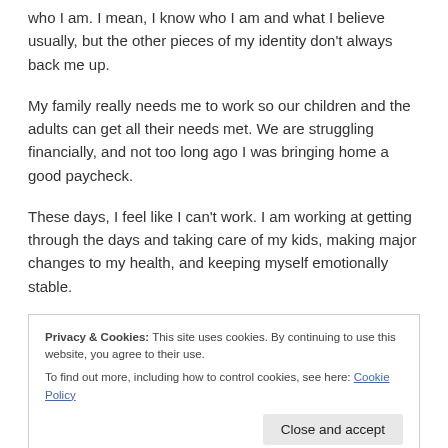who I am. I mean, I know who I am and what I believe usually, but the other pieces of my identity don't always back me up.
My family really needs me to work so our children and the adults can get all their needs met. We are struggling financially, and not too long ago I was bringing home a good paycheck.
These days, I feel like I can't work. I am working at getting through the days and taking care of my kids, making major changes to my health, and keeping myself emotionally stable.
Privacy & Cookies: This site uses cookies. By continuing to use this website, you agree to their use.
To find out more, including how to control cookies, see here: Cookie Policy
The fact that I am functioning by getting out of bed and